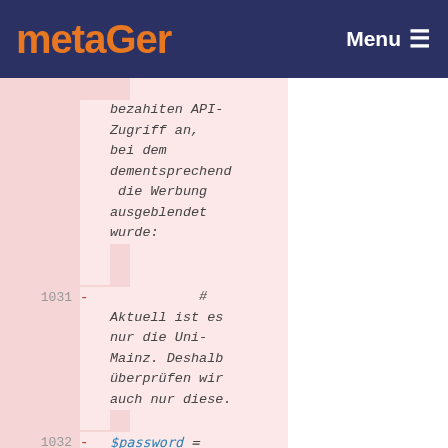metaGer | Menu
bezahiten API-Zugriff an, bei dem dementsprechend die Werbung ausgeblendet wurde:
1031 - # Aktuell ist es nur die Uni-Mainz. Deshalb überprüfen wir auch nur diese.
1032 - $password = getenv('mainz');
1033 - $passwordBerlin =